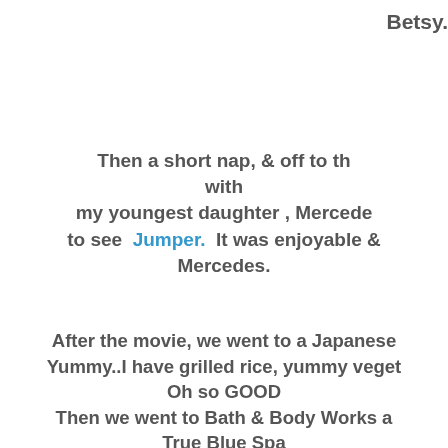Betsy.
Then a short nap, & off to th with my youngest daughter , Mercede to see Jumper. It was enjoyable & Mercedes.
After the movie, we went to a Japanese Yummy..I have grilled rice, yummy veget Oh so GOOD Then we went to Bath & Body Works a True Blue Spa Body Scrub & Bath S It was great fun, but a tir